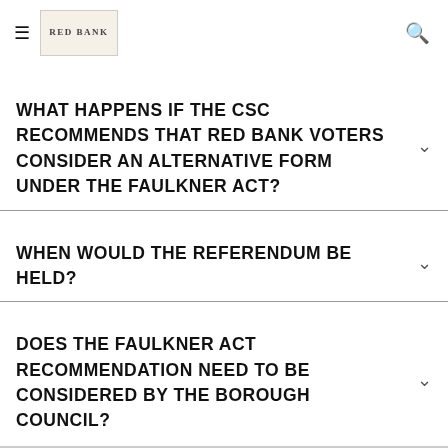Red Bank [logo]
WHAT HAPPENS IF THE CSC RECOMMENDS THAT RED BANK VOTERS CONSIDER AN ALTERNATIVE FORM UNDER THE FAULKNER ACT?
WHEN WOULD THE REFERENDUM BE HELD?
DOES THE FAULKNER ACT RECOMMENDATION NEED TO BE CONSIDERED BY THE BOROUGH COUNCIL?